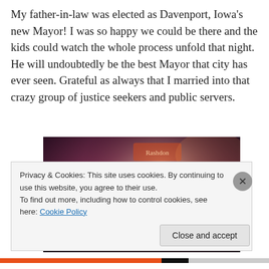My father-in-law was elected as Davenport, Iowa's new Mayor! I was so happy we could be there and the kids could watch the whole process unfold that night. He will undoubtedly be the best Mayor that city has ever seen. Grateful as always that I married into that crazy group of justice seekers and public servers.
[Figure (photo): Group photo of a large family celebrating, taken indoors at what appears to be an election night event. Multiple adults and children posing together.]
Privacy & Cookies: This site uses cookies. By continuing to use this website, you agree to their use.
To find out more, including how to control cookies, see here: Cookie Policy
Close and accept